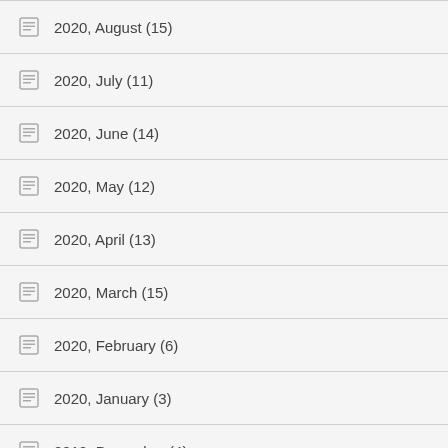2020, August (15)
2020, July (11)
2020, June (14)
2020, May (12)
2020, April (13)
2020, March (15)
2020, February (6)
2020, January (3)
2019, December (4)
2019, November (5)
2019, October (3)
2019, September (11)